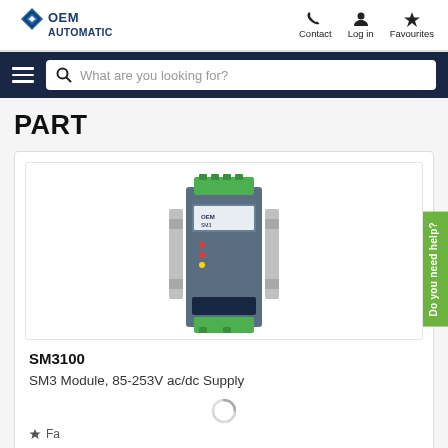[Figure (logo): OEM Automatic logo with blue diamond/compass icon and bold text]
Contact   Log in   Favourites
[Figure (screenshot): Search bar with hamburger menu icon and magnifying glass, placeholder text: What are you looking for?]
PART
[Figure (photo): SM3100 module — a blue DIN-rail mounted power supply unit with green terminal blocks on top and bottom, mounted on a metal DIN rail bracket]
SM3100
SM3 Module, 85-253V ac/dc Supply